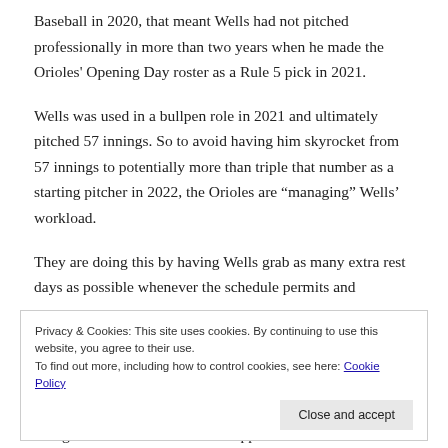Baseball in 2020, that meant Wells had not pitched professionally in more than two years when he made the Orioles' Opening Day roster as a Rule 5 pick in 2021.
Wells was used in a bullpen role in 2021 and ultimately pitched 57 innings. So to avoid having him skyrocket from 57 innings to potentially more than triple that number as a starting pitcher in 2022, the Orioles are “managing” Wells’ workload.
They are doing this by having Wells grab as many extra rest days as possible whenever the schedule permits and
Privacy & Cookies: This site uses cookies. By continuing to use this website, you agree to their use.
To find out more, including how to control cookies, see here: Cookie Policy
Close and accept
The guess is that Wells will be capped at between 100